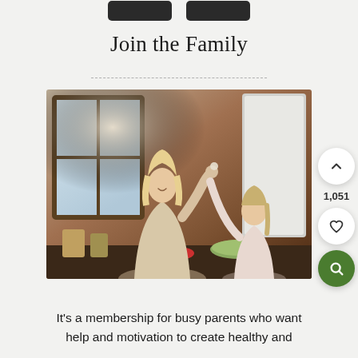[Figure (other): Two dark rectangular buttons side by side at the top of the page]
Join the Family
[Figure (photo): A mother and young daughter cooking together in a kitchen. The mother has long blonde hair and is smiling while the daughter feeds her a piece of food. Fresh vegetables are on the counter.]
[Figure (infographic): Three circular action buttons on the right side: an upvote chevron button (white circle), a vote count of 1,051, a heart/favorite button (white circle), and a green search/magnify button]
It’s a membership for busy parents who want help and motivation to create healthy and